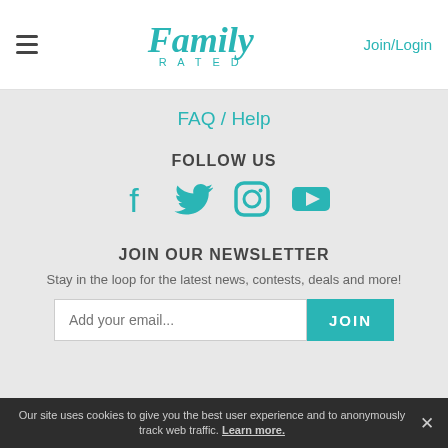[Figure (logo): Family Rated logo with hamburger menu on left and Join/Login link on right]
FAQ / Help
FOLLOW US
[Figure (illustration): Social media icons: Facebook, Twitter, Instagram, YouTube in teal color]
JOIN OUR NEWSLETTER
Stay in the loop for the latest news, contests, deals and more!
Add your email... JOIN
Our site uses cookies to give you the best user experience and to anonymously track web traffic. Learn more.